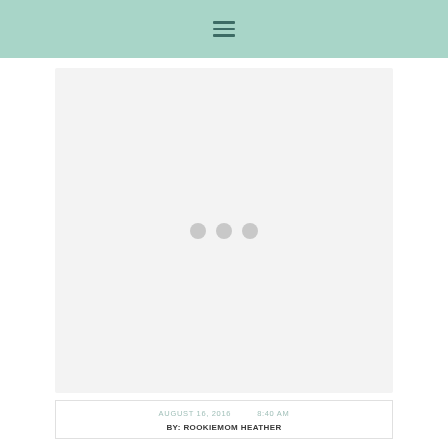≡
[Figure (photo): A large placeholder image area with a light gray background and three gray loading dots in the center, indicating an image is loading or not yet loaded.]
AUGUST 16, 2016   8:40 AM
BY: ROOKIEMOM HEATHER